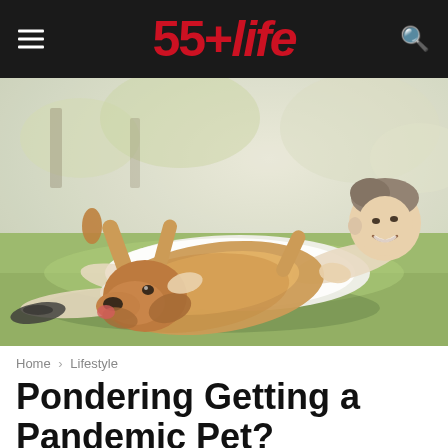55+life
[Figure (photo): A middle-aged man lying on grass playing with a golden retriever dog that is rolling on its back. The man is wearing a white t-shirt and white shorts, with dark sandals. The setting is an outdoor park on a sunny day.]
Home › Lifestyle
Pondering Getting a Pandemic Pet?
By Caitlin Manner